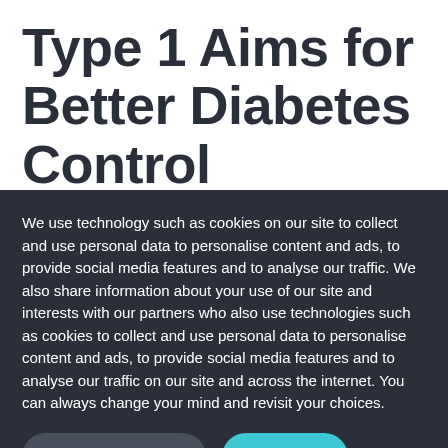Type 1 Aims for Better Diabetes Control
We use technology such as cookies on our site to collect and use personal data to personalise content and ads, to provide social media features and to analyse our traffic. We also share information about your use of our site and interests with our partners who also use technologies such as cookies to collect and use personal data to personalise content and ads, to provide social media features and to analyse our traffic on our site and across the internet. You can always change your mind and revisit your choices.
Manage Options
I Accept